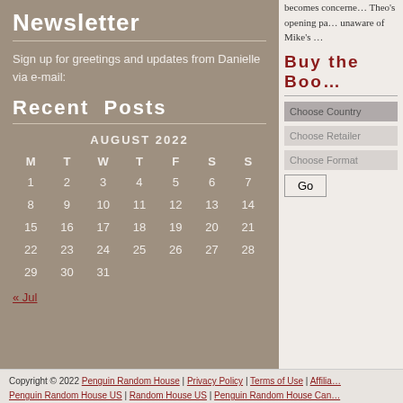Newsletter
Sign up for greetings and updates from Danielle via e-mail:
Recent Posts
| M | T | W | T | F | S | S |
| --- | --- | --- | --- | --- | --- | --- |
| 1 | 2 | 3 | 4 | 5 | 6 | 7 |
| 8 | 9 | 10 | 11 | 12 | 13 | 14 |
| 15 | 16 | 17 | 18 | 19 | 20 | 21 |
| 22 | 23 | 24 | 25 | 26 | 27 | 28 |
| 29 | 30 | 31 |  |  |  |  |
« Jul
becomes concerned. Theo's opening pa... unaware of Mike's ...
Buy the Boo...
Choose Country
Choose Retailer
Choose Format
Go
Copyright © 2022 Penguin Random House | Privacy Policy | Terms of Use | Affilia... Penguin Random House US | Random House US | Penguin Random House Can...